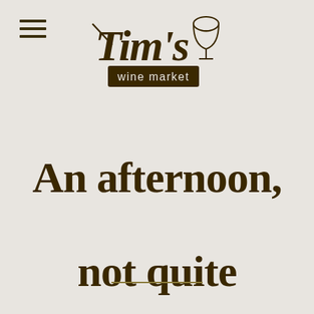[Figure (logo): Tim's Wine Market logo with stylized handwritten 'Tim's' text, a wine glass icon, and a rectangular banner reading 'wine market']
An afternoon, not quite wasted